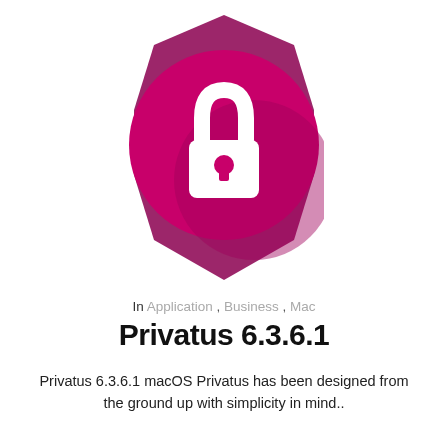[Figure (logo): Circular pink/magenta lock icon app logo for Privatus]
In Application , Business , Mac
Privatus 6.3.6.1
Privatus 6.3.6.1 macOS Privatus has been designed from the ground up with simplicity in mind..
[Figure (illustration): Partial calendar app icon (red/orange) with a partially visible light blue rectangle in the bottom right corner]